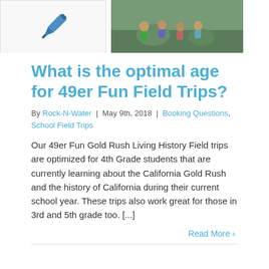[Figure (illustration): Blue fountain pen icon on white background]
[Figure (photo): Group of children sitting on rocks outdoors]
What is the optimal age for 49er Fun Field Trips?
By Rock-N-Water | May 9th, 2018 | Booking Questions, School Field Trips
Our 49er Fun Gold Rush Living History Field trips are optimized for 4th Grade students that are currently learning about the California Gold Rush and the history of California during their current school year. These trips also work great for those in 3rd and 5th grade too. [...]
Read More >